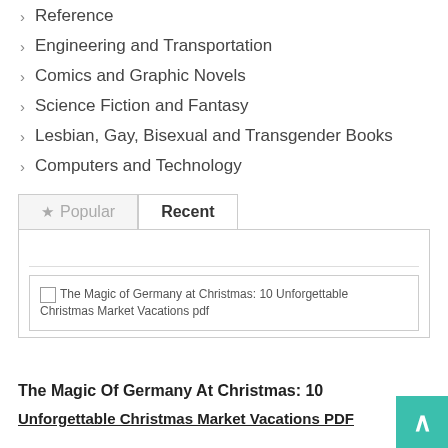> Reference
> Engineering and Transportation
> Comics and Graphic Novels
> Science Fiction and Fantasy
> Lesbian, Gay, Bisexual and Transgender Books
> Computers and Technology
Popular | Recent (tabs)
[Figure (screenshot): Book cover placeholder image for 'The Magic of Germany at Christmas: 10 Unforgettable Christmas Market Vacations pdf']
The Magic Of Germany At Christmas: 10 Unforgettable Christmas Market Vacations PDF